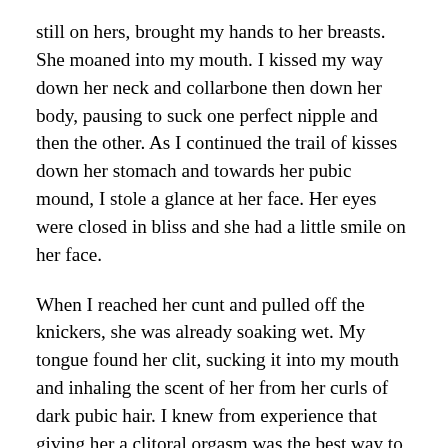still on hers, brought my hands to her breasts. She moaned into my mouth. I kissed my way down her neck and collarbone then down her body, pausing to suck one perfect nipple and then the other. As I continued the trail of kisses down her stomach and towards her pubic mound, I stole a glance at her face. Her eyes were closed in bliss and she had a little smile on her face.
When I reached her cunt and pulled off the knickers, she was already soaking wet. My tongue found her clit, sucking it into my mouth and inhaling the scent of her from her curls of dark pubic hair. I knew from experience that giving her a clitoral orgasm was the best way to get her ready for penetrative play. Forgetting my nerves for a moment, I threw all my energy into giving her pleasure. It did not take long before she was writhing beneath me, and then I felt the